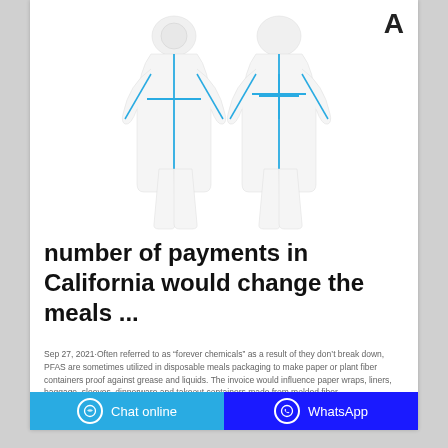[Figure (illustration): Two white protective coverall suits (front and back views) with blue seam lines, shown against a white background.]
number of payments in California would change the meals ...
Sep 27, 2021·Often referred to as “forever chemicals” as a result of they don’t break down, PFAS are sometimes utilized in disposable meals packaging to make paper or plant fiber containers proof against grease and liquids. The invoice would influence paper wraps, liners, baggage, sleeves, dinnerware and takeout containers made from molded fiber.
Chat online  WhatsApp